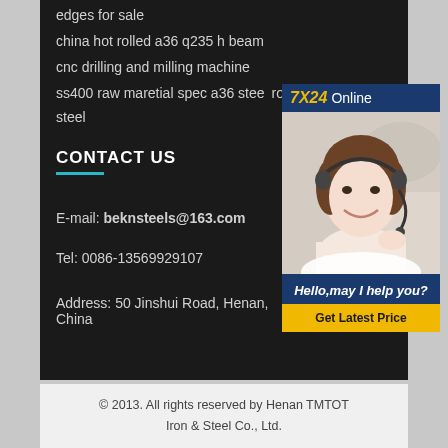edges for sale
china hot rolled a36 q235 h beam
cnc drilling and milling machine
ss400 raw maretial spec a36 steel rolled steel
CONTACT US
E-mail: beknsteels@163.com
Tel: 0086-13569929107
Address: 50 Jinshui Road, Henan, China
[Figure (photo): Customer service representative wearing a headset, smiling, with chat widget overlay showing '7X24 Online', 'Hello,may I help you?' and 'Get Latest Price' button]
© 2013. All rights reserved by Henan TMTOT Iron & Steel Co., Ltd.